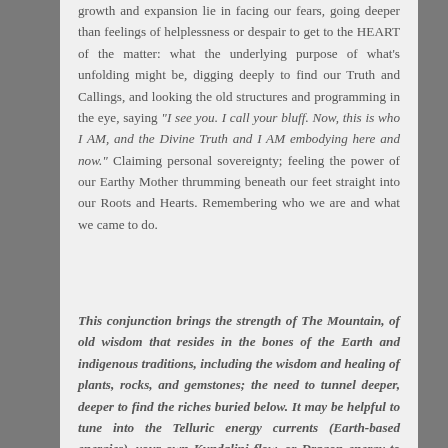growth and expansion lie in facing our fears, going deeper than feelings of helplessness or despair to get to the HEART of the matter: what the underlying purpose of what's unfolding might be, digging deeply to find our Truth and Callings, and looking the old structures and programming in the eye, saying "I see you. I call your bluff. Now, this is who I AM, and the Divine Truth and I AM embodying here and now." Claiming personal sovereignty; feeling the power of our Earthy Mother thrumming beneath our feet straight into our Roots and Hearts. Remembering who we are and what we came to do.
This conjunction brings the strength of The Mountain, of old wisdom that resides in the bones of the Earth and indigenous traditions, including the wisdom and healing of plants, rocks, and gemstones; the need to tunnel deeper, deeper to find the riches buried below. It may be helpful to tune into the Telluric energy currents (Earth-based energies), your own Kundalini flow, or Dragon energy to tap your strength and potential, and